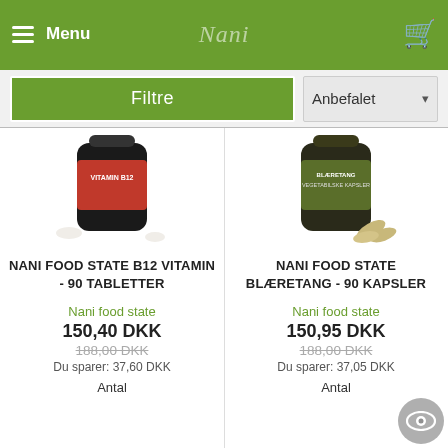Menu  Nani  [cart icon]
Filtre
Anbefalet
[Figure (photo): Product photo: Nani Food State B12 Vitamin bottle (red label) with tablets]
NANI FOOD STATE B12 VITAMIN - 90 TABLETTER
Nani food state
150,40 DKK
188,00 DKK
Du sparer: 37,60 DKK
Antal
[Figure (photo): Product photo: Nani Food State Blæretang bottle (dark/olive label) with capsules]
NANI FOOD STATE BLÆRETANG - 90 KAPSLER
Nani food state
150,95 DKK
188,00 DKK
Du sparer: 37,05 DKK
Antal